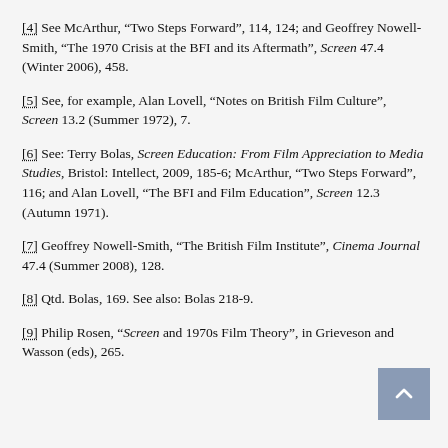[4] See McArthur, “Two Steps Forward”, 114, 124; and Geoffrey Nowell-Smith, “The 1970 Crisis at the BFI and its Aftermath”, Screen 47.4 (Winter 2006), 458.
[5] See, for example, Alan Lovell, “Notes on British Film Culture”, Screen 13.2 (Summer 1972), 7.
[6] See: Terry Bolas, Screen Education: From Film Appreciation to Media Studies, Bristol: Intellect, 2009, 185-6; McArthur, “Two Steps Forward”, 116; and Alan Lovell, “The BFI and Film Education”, Screen 12.3 (Autumn 1971).
[7] Geoffrey Nowell-Smith, “The British Film Institute”, Cinema Journal 47.4 (Summer 2008), 128.
[8] Qtd. Bolas, 169. See also: Bolas 218-9.
[9] Philip Rosen, “Screen and 1970s Film Theory”, in Grieveson and Wasson (eds), 265.